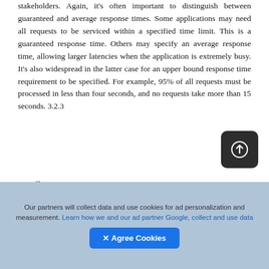stakeholders. Again, it's often important to distinguish between guaranteed and average response times. Some applications may need all requests to be serviced within a specified time limit. This is a guaranteed response time. Others may specify an average response time, allowing larger latencies when the application is extremely busy. It's also widespread in the latter case for an upper bound response time requirement to be specified. For example, 95% of all requests must be processed in less than four seconds, and no requests take more than 15 seconds. 3.2.3
Deadlines